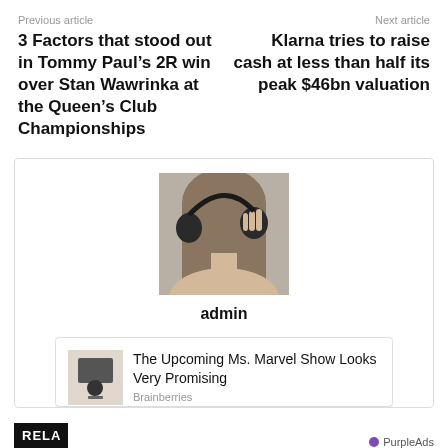Previous article
3 Factors that stood out in Tommy Paul's 2R win over Stan Wawrinka at the Queen's Club Championships
Next article
Klarna tries to raise cash at less than half its peak $46bn valuation
[Figure (photo): Person holding headphones to their head, viewed from behind, long hair]
admin
The Upcoming Ms. Marvel Show Looks Very Promising
Brainberries
PurpleAds
RELA